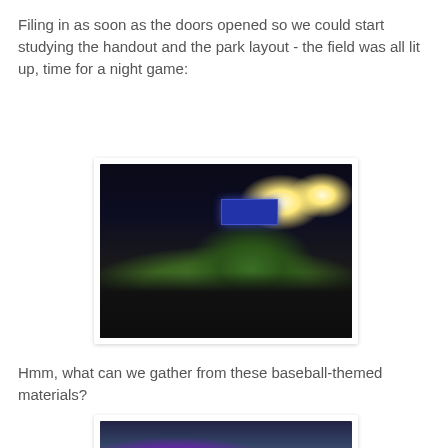Filing in as soon as the doors opened so we could start studying the handout and the park layout - the field was all lit up, time for a night game:
[Figure (photo): Night view of a baseball stadium from the stands. The field is brightly lit with stadium lights. Scoreboard visible in background. Fans entering and finding seats in the foreground, seats mostly empty.]
Hmm, what can we gather from these baseball-themed materials?
[Figure (photo): Partial view of a baseball stadium, scoreboard visible at top with text, brick building visible on the right side. Photo partially cut off at bottom of page.]